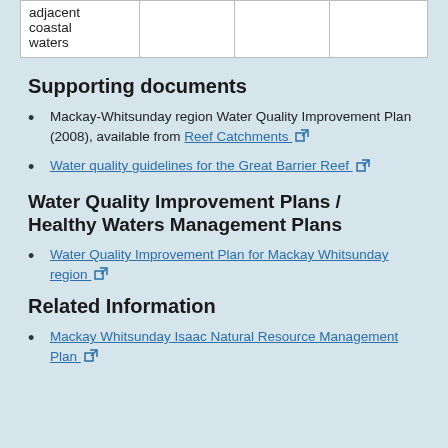| adjacent
coastal
waters |  |  |  |
Supporting documents
Mackay-Whitsunday region Water Quality Improvement Plan (2008), available from Reef Catchments [external link]
Water quality guidelines for the Great Barrier Reef [external link]
Water Quality Improvement Plans / Healthy Waters Management Plans
Water Quality Improvement Plan for Mackay Whitsunday region [external link]
Related Information
Mackay Whitsunday Isaac Natural Resource Management Plan [external link]